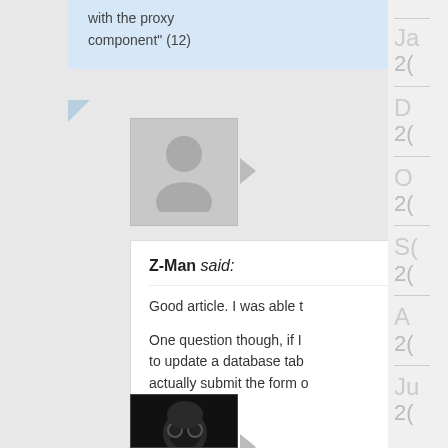with the proxy component" (12)
[Figure (photo): Gray avatar placeholder with person silhouette]
Z-Man said:
Good article. I was able t
One question though, if I to update a database tab actually submit the form o
Thanks.
Like
[Figure (photo): Dark photo of a person with glasses]
Ja 2(
D 2(
O 2(
S( 2(
A 2(
Ju 2(